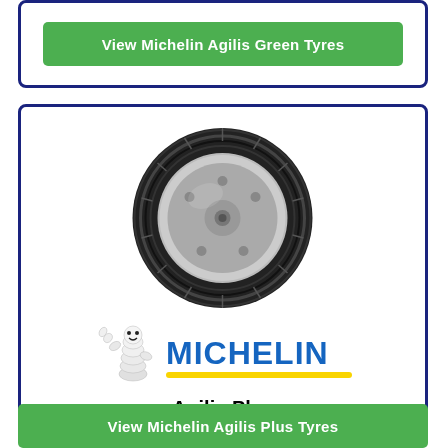View Michelin Agilis Green Tyres
[Figure (photo): Michelin Agilis Plus tyre mounted on a silver steel rim, shown at an angle]
[Figure (logo): Michelin logo with Bibendum mascot and yellow underline stripe]
Agilis Plus
View Michelin Agilis Plus Tyres